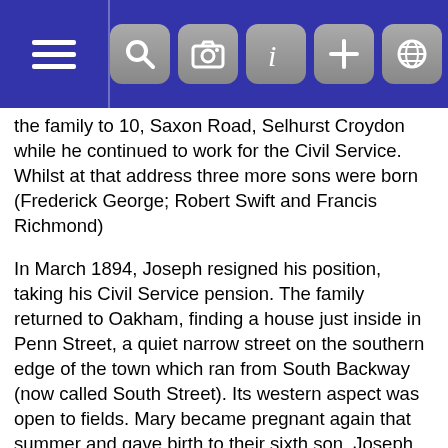[Navigation header with hamburger menu and toolbar icons: search, camera, info, add, globe]
the family to 10, Saxon Road, Selhurst Croydon while he continued to work for the Civil Service. Whilst at that address three more sons were born (Frederick George; Robert Swift and Francis Richmond)
In March 1894, Joseph resigned his position, taking his Civil Service pension. The family returned to Oakham, finding a house just inside in Penn Street, a quiet narrow street on the southern edge of the town which ran from South Backway (now called South Street). Its western aspect was open to fields. Mary became pregnant again that summer and gave birth to their sixth son, Joseph Hugh, on February 24th 1895.
It does appear that he maintained his outside interests